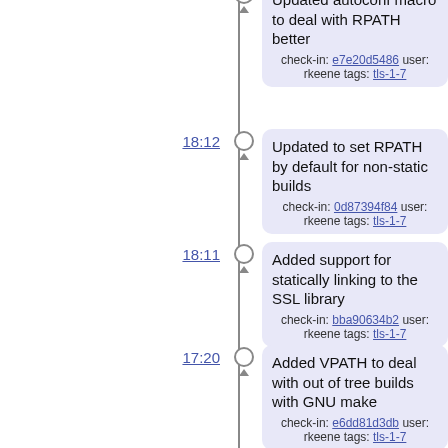Updated autoconf macro to deal with RPATH better
check-in: e7e20d5486 user: rkeene tags: tls-1-7
18:12 — Updated to set RPATH by default for non-static builds
check-in: 0d87394f84 user: rkeene tags: tls-1-7
18:11 — Added support for statically linking to the SSL library
check-in: bba90634b2 user: rkeene tags: tls-1-7
17:20 — Added VPATH to deal with out of tree builds with GNU make
check-in: e6dd81d3db user: rkeene tags: tls-1-7
17:18 — Updated to create a ".linkadd" file when creating a static archive for static linking that describes what we need to link to
check-in: 7a4440b028 user: rkeene tags: tls-1-7
16:53 — Added a dependency on the Makefile for most targets
check-in: 22e5d6a6bc user: rkeene tags: tls-1-7